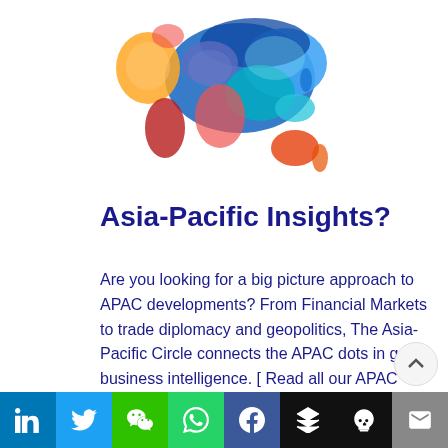[Figure (illustration): Colorful watercolor-style world map illustration showing continents in blue, teal, orange, red, and yellow hues on a white background.]
Asia-Pacific Insights?
Are you looking for a big picture approach to APAC developments? From Financial Markets to trade diplomacy and geopolitics, The Asia-Pacific Circle connects the APAC dots in good business intelligence. [ Read all our APAC Insights ].